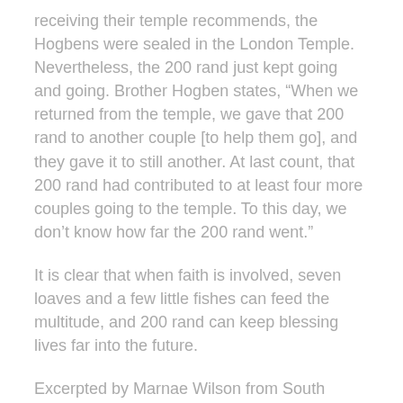receiving their temple recommends, the Hogbens were sealed in the London Temple. Nevertheless, the 200 rand just kept going and going. Brother Hogben states, “When we returned from the temple, we gave that 200 rand to another couple [to help them go], and they gave it to still another. At last count, that 200 rand had contributed to at least four more couples going to the temple. To this day, we don’t know how far the 200 rand went.”
It is clear that when faith is involved, seven loaves and a few little fishes can feed the multitude, and 200 rand can keep blessing lives far into the future.
Excerpted by Marnae Wilson from South